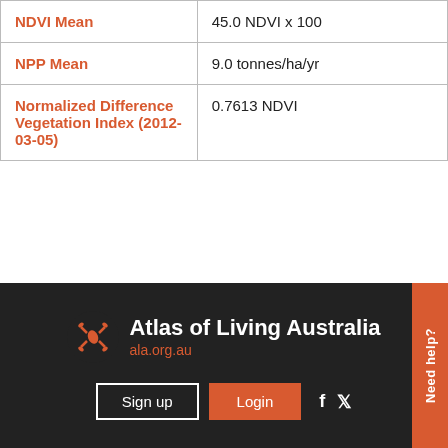| NDVI Mean | 45.0 NDVI x 100 |
| NPP Mean | 9.0 tonnes/ha/yr |
| Normalized Difference Vegetation Index (2012-03-05) | 0.7613 NDVI |
[Figure (logo): Atlas of Living Australia logo with ala.org.au URL, footer with Sign up and Login buttons and social media icons, and Need help? tab]